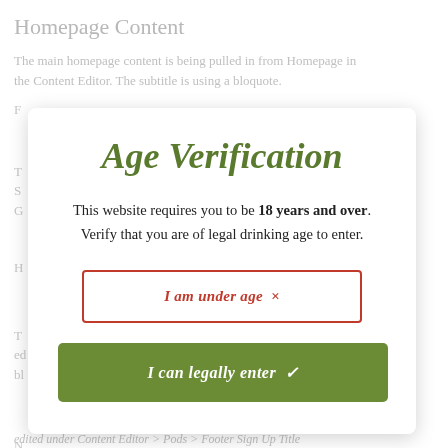Homepage Content
The main homepage content is being pulled in from Homepage in the Content Editor. The subtitle is using a bloquote.
Age Verification
This website requires you to be 18 years and over. Verify that you are of legal drinking age to enter.
I am under age ×
I can legally enter ✓
edited under Content Editor > Pods > Footer Sign Up Title